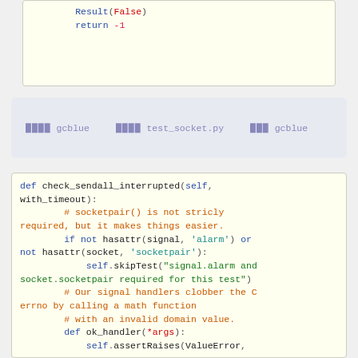[Figure (screenshot): Top code block showing: Result(False) and return -1]
████ gcblue  ████ test_socket.py  ███ gcblue
[Figure (screenshot): Python code block showing check_sendall_interrupted method with comments about socketpair, signal handlers, ok_handler, and assertRaises]